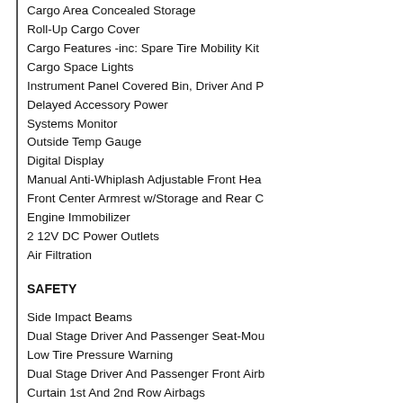Cargo Area Concealed Storage
Roll-Up Cargo Cover
Cargo Features -inc: Spare Tire Mobility Kit
Cargo Space Lights
Instrument Panel Covered Bin, Driver And P
Delayed Accessory Power
Systems Monitor
Outside Temp Gauge
Digital Display
Manual Anti-Whiplash Adjustable Front Head
Front Center Armrest w/Storage and Rear C
Engine Immobilizer
2 12V DC Power Outlets
Air Filtration
SAFETY
Side Impact Beams
Dual Stage Driver And Passenger Seat-Mou
Low Tire Pressure Warning
Dual Stage Driver And Passenger Front Airb
Curtain 1st And 2nd Row Airbags
Airbag Occupancy Sensor
Driver Knee Airbag
Rear Child Safety Locks
Outboard Front Lap And Shoulder Safety Be
Description
This vehicle is on consignment please call b perfectly. Very clean inside and out. Gets up REBUILT TITLE. (Very minor damage, pictur with all items. Availl/D